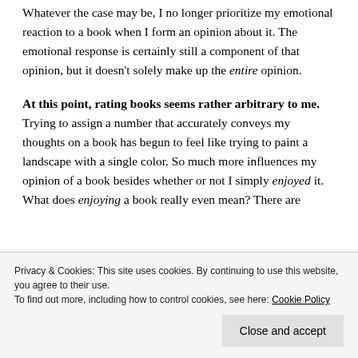Whatever the case may be, I no longer prioritize my emotional reaction to a book when I form an opinion about it. The emotional response is certainly still a component of that opinion, but it doesn't solely make up the entire opinion.
At this point, rating books seems rather arbitrary to me. Trying to assign a number that accurately conveys my thoughts on a book has begun to feel like trying to paint a landscape with a single color. So much more influences my opinion of a book besides whether or not I simply enjoyed it. What does enjoying a book really even mean? There are
Privacy & Cookies: This site uses cookies. By continuing to use this website, you agree to their use. To find out more, including how to control cookies, see here: Cookie Policy
Close and accept